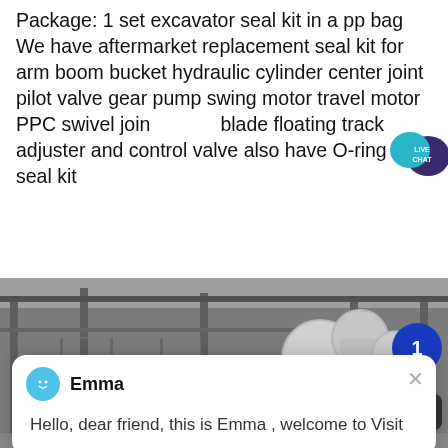Package: 1 set excavator seal kit in a pp bag We have aftermarket replacement seal kit for arm boom bucket hydraulic cylinder center joint pilot valve gear pump swing motor travel motor PPC swivel joint blade floating track adjuster and control valve also have O-ring box seal kit
[Figure (screenshot): Live chat bubble icon with 'LIVE CHAT' text in teal/dark color, overlaid on top right of the text block]
[Figure (screenshot): Chat popup card showing avatar icon for 'Emma' with message 'Hello, dear friend, this is Emma , welcome to Visit', with close X button, overlaid on orange rounded button]
[Figure (photo): Black and white industrial photo showing large machinery, pipes, and scaffolding inside a factory or industrial facility. A blue circle badge with number 1 and a dark scroll-up button are overlaid on the right side.]